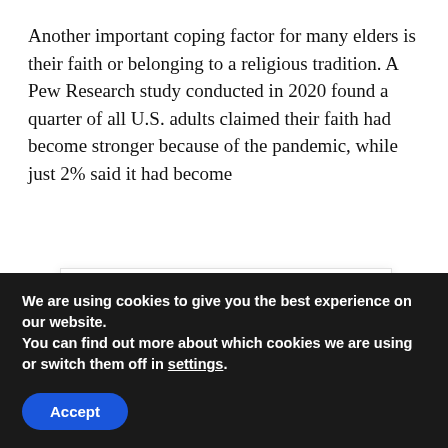Another important coping factor for many elders is their faith or belonging to a religious tradition. A Pew Research study conducted in 2020 found a quarter of all U.S. adults claimed their faith had become stronger because of the pandemic, while just 2% said it had become
ker. This study also indicated stronger faith ack Americans, women, and older adults n important factor for chaplains and faith ers to bear in mind.
As experts in our field of spiritual care and
We are using cookies to give you the best experience on our website.
You can find out more about which cookies we are using or switch them off in settings.